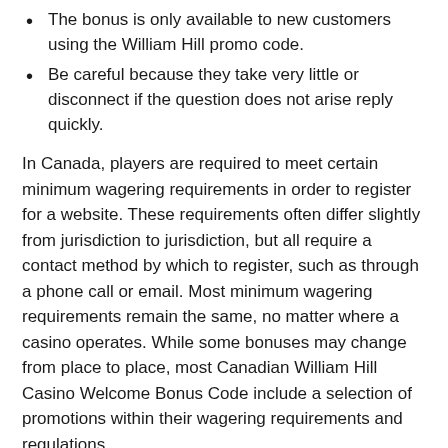The bonus is only available to new customers using the William Hill promo code.
Be careful because they take very little or disconnect if the question does not arise reply quickly.
In Canada, players are required to meet certain minimum wagering requirements in order to register for a website. These requirements often differ slightly from jurisdiction to jurisdiction, but all require a contact method by which to register, such as through a phone call or email. Most minimum wagering requirements remain the same, no matter where a casino operates. While some bonuses may change from place to place, most Canadian William Hill Casino Welcome Bonus Code include a selection of promotions within their wagering requirements and regulations.
William Hill Casino Free Spins After Making A